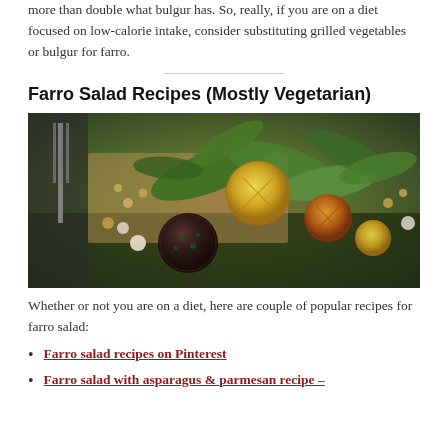more than double what bulgur has. So, really, if you are on a diet focused on low-calorie intake, consider substituting grilled vegetables or bulgur for farro.
Farro Salad Recipes (Mostly Vegetarian)
[Figure (photo): Close-up photo of a farro salad in a bowl with arugula, yellow and dark cherry tomatoes, chickpeas, and a fork visible on the left side.]
Whether or not you are on a diet, here are couple of popular recipes for farro salad:
Farro salad recipes on Pinterest
Farro salad with asparagus & parmesan recipe –